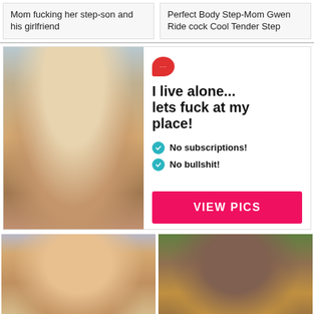Mom fucking her step-son and his girlfriend
Perfect Body Step-Mom Gwen Ride cock Cool Tender Step
[Figure (photo): Advertisement banner with photo of a woman and text overlay promoting adult content]
[Figure (photo): Adult video thumbnail on left]
[Figure (photo): Adult video thumbnail on right]